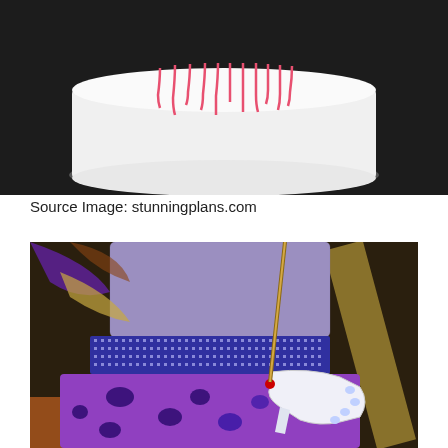[Figure (photo): A white round cake with pink/red drizzle dripping down the sides, photographed from above against a dark background.]
Source Image: stunningplans.com
[Figure (photo): A close-up of a decorative purple tiered cake with leopard print pattern, rhinestone/sequin band, and a high-heel shoe decoration. Gold glittery accents visible in background.]